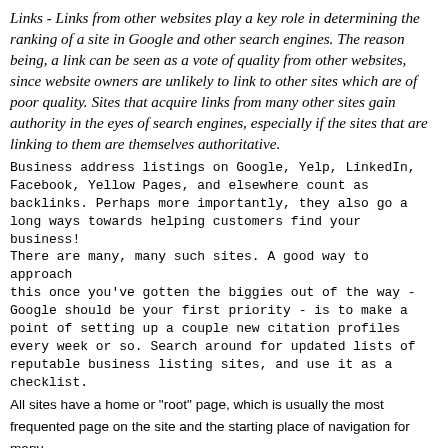Links - Links from other websites play a key role in determining the ranking of a site in Google and other search engines. The reason being, a link can be seen as a vote of quality from other websites, since website owners are unlikely to link to other sites which are of poor quality. Sites that acquire links from many other sites gain authority in the eyes of search engines, especially if the sites that are linking to them are themselves authoritative.
Business address listings on Google, Yelp, LinkedIn, Facebook, Yellow Pages, and elsewhere count as backlinks. Perhaps more importantly, they also go a long ways towards helping customers find your business! There are many, many such sites. A good way to approach this once you've gotten the biggies out of the way - Google should be your first priority - is to make a point of setting up a couple new citation profiles every week or so. Search around for updated lists of reputable business listing sites, and use it as a checklist.
All sites have a home or "root" page, which is usually the most frequented page on the site and the starting place of navigation for many visitors. Unless your site has only a handful of pages, you should think about how visitors will go from a general page (your root page) to a page containing more specific content. Do you have enough pages around a